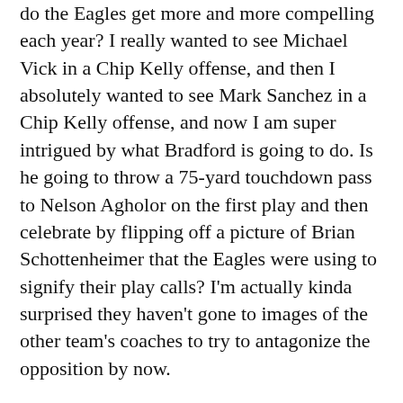do the Eagles get more and more compelling each year? I really wanted to see Michael Vick in a Chip Kelly offense, and then I absolutely wanted to see Mark Sanchez in a Chip Kelly offense, and now I am super intrigued by what Bradford is going to do. Is he going to throw a 75-yard touchdown pass to Nelson Agholor on the first play and then celebrate by flipping off a picture of Brian Schottenheimer that the Eagles were using to signify their play calls? I'm actually kinda surprised they haven't gone to images of the other team's coaches to try to antagonize the opposition by now.
Watch Later: This is the year Desmond Trufant gets recognized as one of the best cornerbacks in football. You can jump on that bandwagon now or you can wait until November, when it's patently obvious. I'm not sure about the Falcons defense in Year 1 under Dan Quinn, especially if